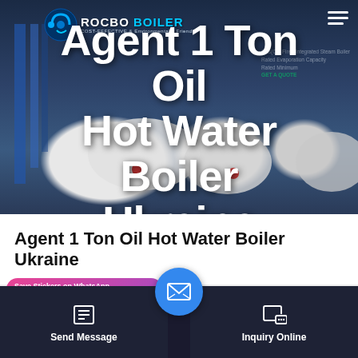[Figure (photo): Hero banner showing industrial steam boilers (cylindrical white/grey boiler tanks) in a factory setting with blue structural elements on the left. Dark blue background. ROCBO BOILER logo in top-left with circular emblem. Hamburger menu top-right. Faint specification table overlay on right side.]
Agent 1 Ton Oil Hot Water Boiler Ukraine
Agent 1 Ton Oil Hot Water Boiler Ukraine
[Figure (screenshot): Bottom navigation bar: WhatsApp sticker save card (pink/purple gradient) on left, circular blue email button in center, Send Message button (dark) on left, Inquiry Online button (dark) on right.]
Send Message
Inquiry Online